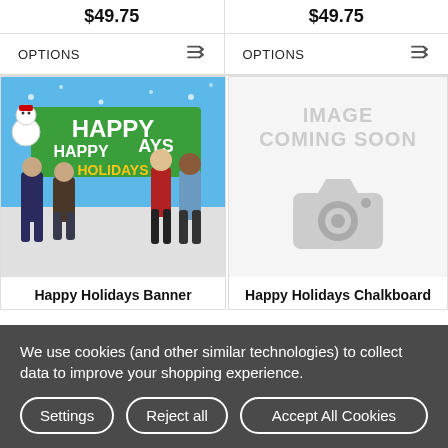$49.75
$49.75
OPTIONS
OPTIONS
[Figure (photo): Children standing in front of a Happy Holidays banner with snowman decorations]
[Figure (other): Image coming soon placeholder with camera icon]
Happy Holidays Banner
Happy Holidays Chalkboard
We use cookies (and other similar technologies) to collect data to improve your shopping experience.
Settings
Reject all
Accept All Cookies